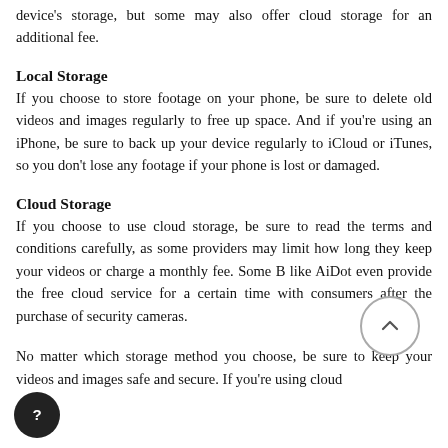device's storage, but some may also offer cloud storage for an additional fee.
Local Storage
If you choose to store footage on your phone, be sure to delete old videos and images regularly to free up space. And if you're using an iPhone, be sure to back up your device regularly to iCloud or iTunes, so you don't lose any footage if your phone is lost or damaged.
Cloud Storage
If you choose to use cloud storage, be sure to read the terms and conditions carefully, as some providers may limit how long they keep your videos or charge a monthly fee. Some B like AiDot even provide the free cloud service for a certain time with consumers after the purchase of security cameras.
No matter which storage method you choose, be sure to keep your videos and images safe and secure. If you're using cloud